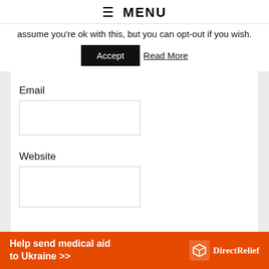≡ MENU
assume you're ok with this, but you can opt-out if you wish.
Accept   Read More
Email
Website
[Figure (other): Orange advertisement banner: 'Help send medical aid to Ukraine >>' with Direct Relief logo]